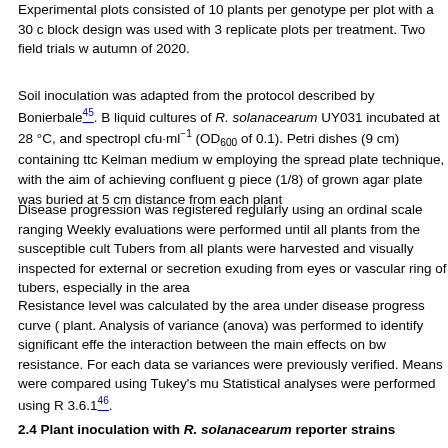Experimental plots consisted of 10 plants per genotype per plot with a 30 c block design was used with 3 replicate plots per treatment. Two field trials w autumn of 2020.
Soil inoculation was adapted from the protocol described by Bonierbale[45]. B liquid cultures of R. solanacearum UY031 incubated at 28 °C, and spectropl cfu·ml−1 (OD600 of 0.1). Petri dishes (9 cm) containing ttc Kelman medium w employing the spread plate technique, with the aim of achieving confluent g piece (1/8) of grown agar plate was buried at 5 cm distance from each plant
Disease progression was registered regularly using an ordinal scale ranging Weekly evaluations were performed until all plants from the susceptible cult Tubers from all plants were harvested and visually inspected for external or secretion exuding from eyes or vascular ring of tubers, especially in the are
Resistance level was calculated by the area under disease progress curve ( plant. Analysis of variance (anova) was performed to identify significant effe the interaction between the main effects on bw resistance. For each data se variances were previously verified. Means were compared using Tukey's mu Statistical analyses were performed using R 3.6.1[46].
2.4 Plant inoculation with R. solanacearum reporter strains
For colonization pattern evaluation, plants grown in a greenhouse for two w in a growth chamber at 24 °C, with 60% daily/100% night relative humidity, additional week prior to inoculation assays.
Bacterial suspensions were prepared from overnight liquid cultures of R. so spectrophotometrically adjusted to a concentration of 107 cfu·ml−1 as descri